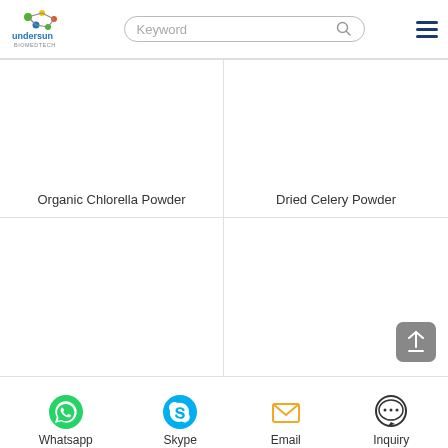Undersun Biomedtech - Keyword search bar - hamburger menu
Organic Chlorella Powder
Dried Celery Powder
[Figure (screenshot): Product grid cells (bottom row, blank product images)]
Whatsapp  Skype  Email  Inquiry